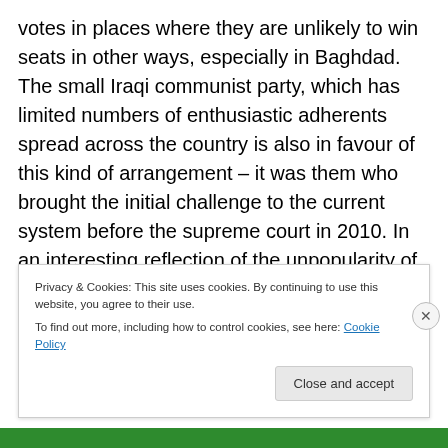votes in places where they are unlikely to win seats in other ways, especially in Baghdad. The small Iraqi communist party, which has limited numbers of enthusiastic adherents spread across the country is also in favour of this kind of arrangement – it was them who brought the initial challenge to the current system before the supreme court in 2010. In an interesting reflection of the unpopularity of the single constituency outside the Kurdish camp, the secular but increasingly Sunni-dominated Iraqiyya has voiced opposition to the Kurdish proposal. That is noteworthy since Iraqiyya might well
Privacy & Cookies: This site uses cookies. By continuing to use this website, you agree to their use. To find out more, including how to control cookies, see here: Cookie Policy